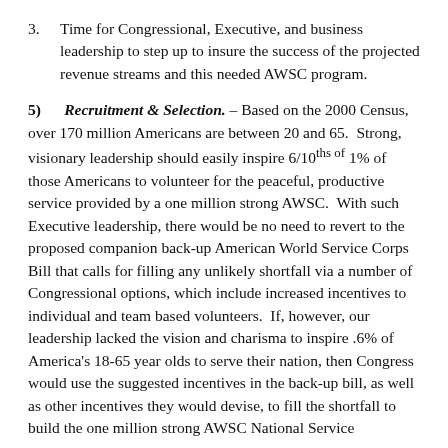3. Time for Congressional, Executive, and business leadership to step up to insure the success of the projected revenue streams and this needed AWSC program.
5) Recruitment & Selection. – Based on the 2000 Census, over 170 million Americans are between 20 and 65. Strong, visionary leadership should easily inspire 6/10ths of 1% of those Americans to volunteer for the peaceful, productive service provided by a one million strong AWSC. With such Executive leadership, there would be no need to revert to the proposed companion back-up American World Service Corps Bill that calls for filling any unlikely shortfall via a number of Congressional options, which include increased incentives to individual and team based volunteers. If, however, our leadership lacked the vision and charisma to inspire .6% of America's 18-65 year olds to serve their nation, then Congress would use the suggested incentives in the back-up bill, as well as other incentives they would devise, to fill the shortfall to build the one million strong AWSC National Service